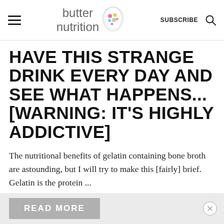butter nutrition — SUBSCRIBE
HAVE THIS STRANGE DRINK EVERY DAY AND SEE WHAT HAPPENS... [WARNING: IT'S HIGHLY ADDICTIVE]
The nutritional benefits of gelatin containing bone broth are astounding, but I will try to make this [fairly] brief. Gelatin is the protein ...
READ MORE